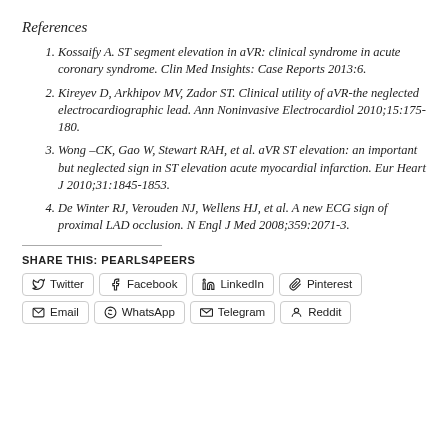References
Kossaify A. ST segment elevation in aVR: clinical syndrome in acute coronary syndrome. Clin Med Insights: Case Reports 2013:6.
Kireyev D, Arkhipov MV, Zador ST. Clinical utility of aVR-the neglected electrocardiographic lead. Ann Noninvasive Electrocardiol 2010;15:175-180.
Wong –CK, Gao W, Stewart RAH, et al. aVR ST elevation: an important but neglected sign in ST elevation acute myocardial infarction. Eur Heart J 2010;31:1845-1853.
De Winter RJ, Verouden NJ, Wellens HJ, et al. A new ECG sign of proximal LAD occlusion. N Engl J Med 2008;359:2071-3.
SHARE THIS: PEARLS4PEERS
Twitter | Facebook | LinkedIn | Pinterest | Email | WhatsApp | Telegram | Reddit